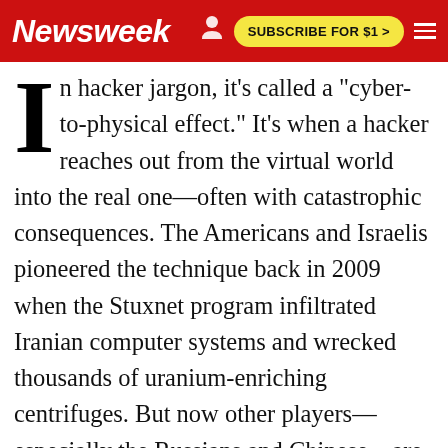Newsweek | SUBSCRIBE FOR $1 >
In hacker jargon, it's called a "cyber-to-physical effect." It's when a hacker reaches out from the virtual world into the real one—often with catastrophic consequences. The Americans and Israelis pioneered the technique back in 2009 when the Stuxnet program infiltrated Iranian computer systems and wrecked thousands of uranium-enriching centrifuges. But now other players—especially the Russians and Chinese—are getting into the game of remotely using computer networks to